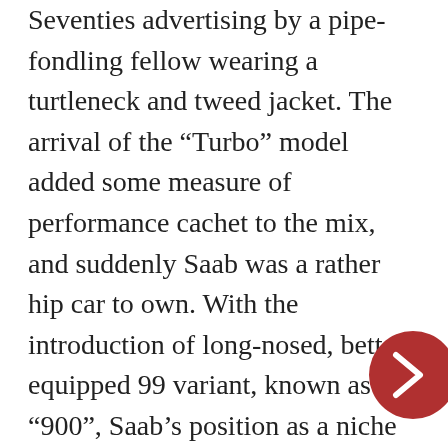Seventies advertising by a pipe-fondling fellow wearing a turtleneck and tweed jacket. The arrival of the “Turbo” model added some measure of performance cachet to the mix, and suddenly Saab was a rather hip car to own. With the introduction of long-nosed, better-equipped 99 variant, known as the “900”, Saab’s position as a niche product for comparative-literature professors and the occasional Cannonball Run wannabe was more or less assured.

Sure, as a company Saab had a product-development timetable that might best be described as “leisurely”, but what did that
[Figure (other): A dark red circular navigation arrow button pointing right, partially visible at the right edge of the page]